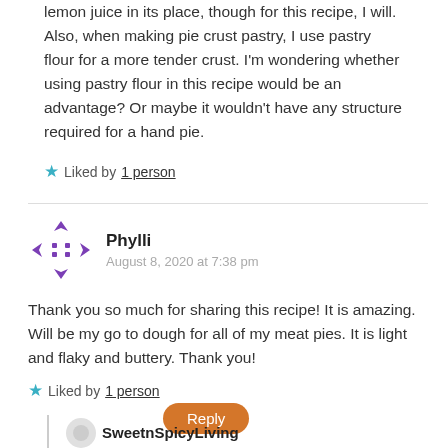lemon juice in its place, though for this recipe, I will. Also, when making pie crust pastry, I use pastry flour for a more tender crust. I'm wondering whether using pastry flour in this recipe would be an advantage? Or maybe it wouldn't have any structure required for a hand pie.
Liked by 1 person
Phylli
August 8, 2020 at 7:38 pm
Thank you so much for sharing this recipe! It is amazing. Will be my go to dough for all of my meat pies. It is light and flaky and buttery. Thank you!
Liked by 1 person
Reply
SweetnSpicyLiving